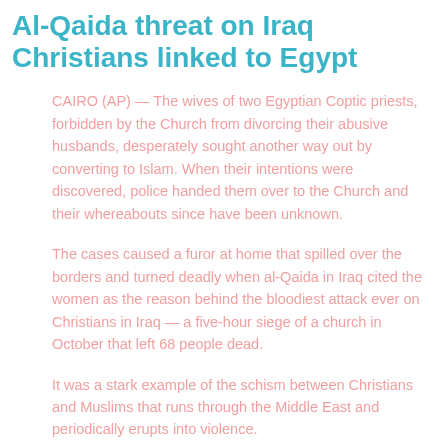Al-Qaida threat on Iraq Christians linked to Egypt
CAIRO (AP) — The wives of two Egyptian Coptic priests, forbidden by the Church from divorcing their abusive husbands, desperately sought another way out by converting to Islam. When their intentions were discovered, police handed them over to the Church and their whereabouts since have been unknown.
The cases caused a furor at home that spilled over the borders and turned deadly when al-Qaida in Iraq cited the women as the reason behind the bloodiest attack ever on Christians in Iraq — a five-hour siege of a church in October that left 68 people dead.
It was a stark example of the schism between Christians and Muslims that runs through the Middle East and periodically erupts into violence.